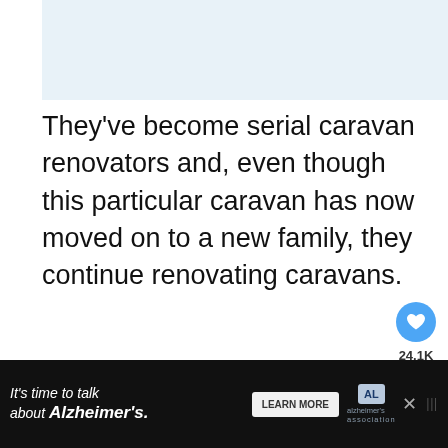They've become serial caravan renovators and, even though this particular caravan has now moved on to a new family, they continue renovating caravans.
[Figure (photo): Outdoor sky scene, light blue and grey tones, appears to be a sky/landscape photo with social media interaction buttons (heart/like button showing 24.1K and a share button visible on the right side)]
[Figure (infographic): Advertisement bar at bottom: dark background with text 'It's time to talk about Alzheimer's.' with a LEARN MORE button, Alzheimer's Association logo, a close X button, and a menu icon]